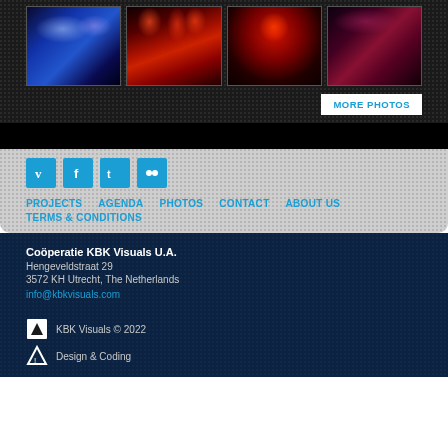[Figure (photo): Four concert/event photos showing stage lighting in blue and red tones]
MORE PHOTOS
[Figure (logo): Social media icons: Vimeo, Facebook, Twitter, Flickr]
PROJECTS
AGENDA
PHOTOS
CONTACT
ABOUT US
TERMS & CONDITIONS
Coöperatie KBK Visuals U.A.
Hengeveldstraat 29
3572 KH Utrecht, The Netherlands
info@kbkvisuals.com
KBK Visuals © 2022
Design & Coding